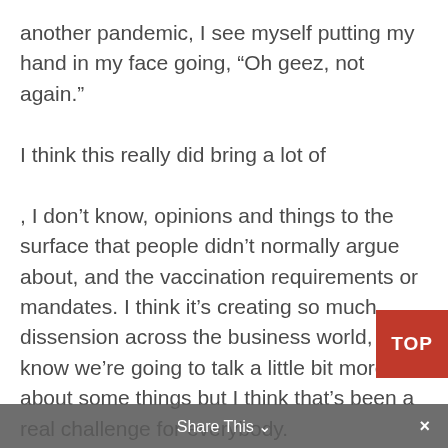another pandemic, I see myself putting my hand in my face going, “Oh geez, not again.”

I think this really did bring a lot of

, I don’t know, opinions and things to the surface that people didn’t normally argue about, and the vaccination requirements or mandates. I think it’s creating so much dissension across the business world, and I know we’re going to talk a little bit more about some things but I think that’s been a real challenge for everybody.

Talking about stances on vaccines, there’s been employers all across the nation, and they’ve all taken various stances. Some are making vaccine a condition of employment and that was kind of interesting. I had one of
[Figure (other): Red TOP button in the bottom-right area]
Share This ⌄  ×